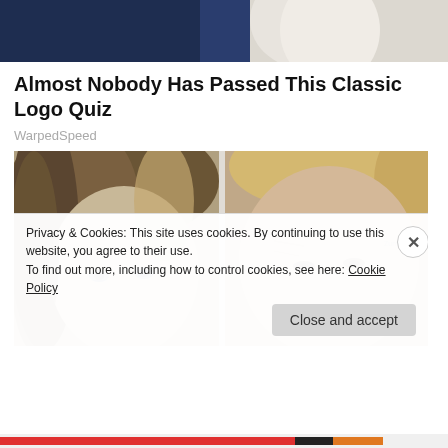[Figure (photo): Partial top image showing a person in dark clothing with white fabric, cropped at top of page]
Almost Nobody Has Passed This Classic Logo Quiz
WarpedSpeed
[Figure (photo): Photo of two people side by side — a woman with highlighted brown hair on the left and a man with blonde hair on the right]
Privacy & Cookies: This site uses cookies. By continuing to use this website, you agree to their use.
To find out more, including how to control cookies, see here: Cookie Policy
Close and accept